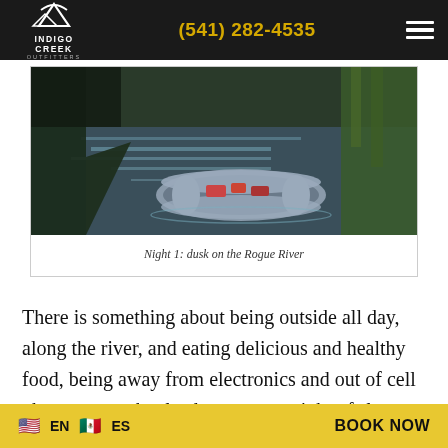INDIGO CREEK OUTFITTERS | (541) 282-4535
[Figure (photo): A white inflatable raft resting on the bank of the Rogue River at dusk, with calm water and vegetation in the background.]
Night 1: dusk on the Rogue River
There is something about being outside all day, along the river, and eating delicious and healthy food, being away from electronics and out of cell phone range, that leads to a great night of sleep. Don't be
EN  ES  BOOK NOW